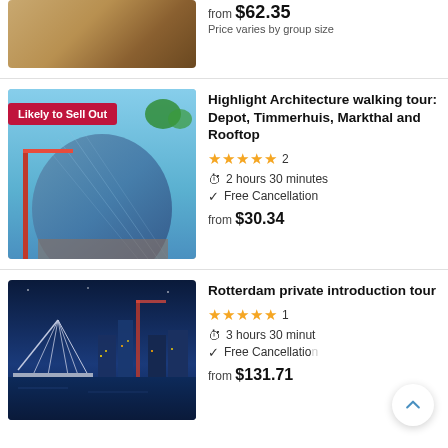[Figure (photo): Partial image of people on yellow-striped stairs/escalator]
from $62.35
Price varies by group size
[Figure (photo): Glass curved modern building (Depot Boijmans Museum) with construction crane, badge: Likely to Sell Out]
Highlight Architecture walking tour: Depot, Timmerhuis, Markthal and Rooftop
★★★★★ 2
⏱ 2 hours 30 minutes
✓ Free Cancellation
from $30.34
[Figure (photo): Rotterdam skyline at night with Erasmus bridge and city lights]
Rotterdam private introduction tour
★★★★★ 1
⏱ 3 hours 30 minutes
✓ Free Cancellation
from $131.71